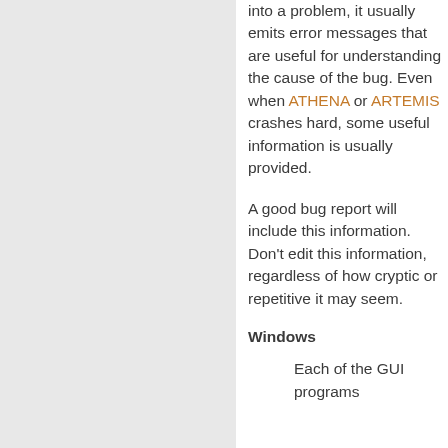into a problem, it usually emits error messages that are useful for understanding the cause of the bug. Even when ATHENA or ARTEMIS crashes hard, some useful information is usually provided.
A good bug report will include this information. Don't edit this information, regardless of how cryptic or repetitive it may seem.
Windows
Each of the GUI programs